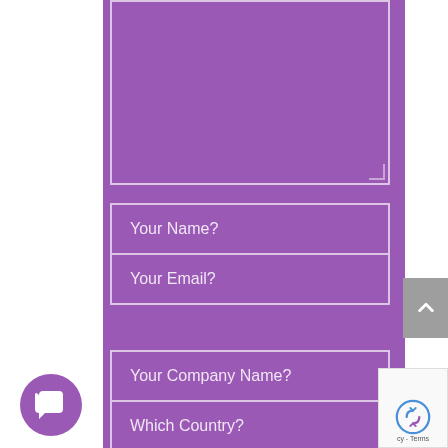[Figure (screenshot): Web contact form on purple background with textarea (top), input fields for Your Name?, Your Email?, Your Company Name?, Which Country?, a chat bubble icon bottom-left, scroll-to-top button right side, and reCAPTCHA bottom-right]
Your Name?
Your Email?
Your Company Name?
Which Country?